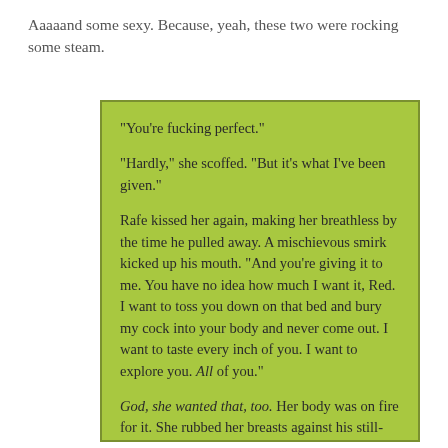Aaaaand some sexy. Because, yeah, these two were rocking some steam.
"You're fucking perfect."

"Hardly," she scoffed. "But it's what I've been given."

Rafe kissed her again, making her breathless by the time he pulled away. A mischievous smirk kicked up his mouth. "And you're giving it to me. You have no idea how much I want it, Red. I want to toss you down on that bed and bury my cock into your body and never come out. I want to taste every inch of you. I want to explore you. All of you."

God, she wanted that, too. Her body was on fire for it. She rubbed her breasts against his still-covered chest and smirked at the rolling growl it pulled from his throat. "So what's stopping you?"